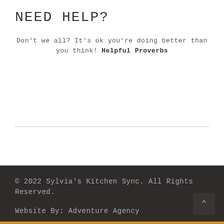NEED HELP?
Don't we all? It's ok you're doing better than you think! Helpful Proverbs
© 2022 Sylvia's Kitchen Sync. All Rights Reserved.

Website By: Adventure Agency